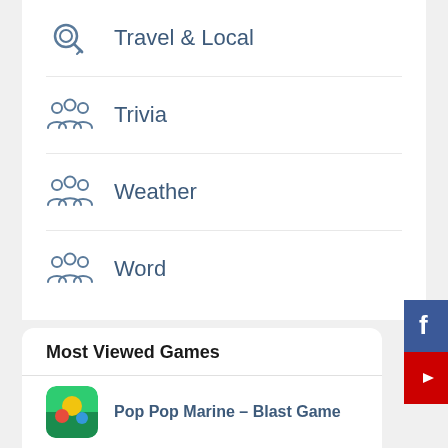Travel & Local
Trivia
Weather
Word
Most Viewed Games
Pop Pop Marine – Blast Game